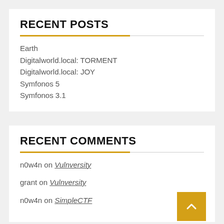RECENT POSTS
Earth
Digitalworld.local: TORMENT
Digitalworld.local: JOY
Symfonos 5
Symfonos 3.1
RECENT COMMENTS
n0w4n on Vulnversity
grant on Vulnversity
n0w4n on SimpleCTF